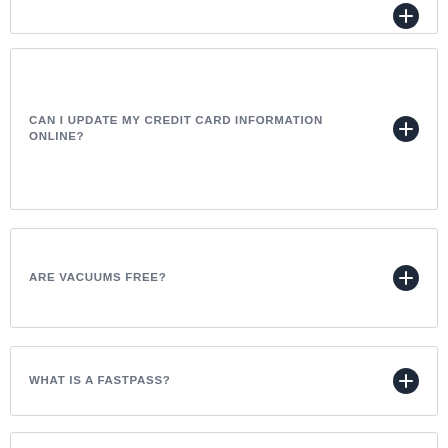CAN I UPDATE MY CREDIT CARD INFORMATION ONLINE?
ARE VACUUMS FREE?
WHAT IS A FASTPASS?
HOW MUCH DOES A FASTPASS COST?